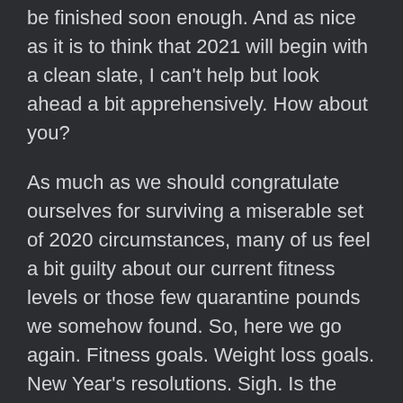be finished soon enough. And as nice as it is to think that 2021 will begin with a clean slate, I can't help but look ahead a bit apprehensively. How about you?
As much as we should congratulate ourselves for surviving a miserable set of 2020 circumstances, many of us feel a bit guilty about our current fitness levels or those few quarantine pounds we somehow found. So, here we go again. Fitness goals. Weight loss goals. New Year's resolutions. Sigh. Is the pressure on yourself really worth it?
Indeed, many of us have enough on our plates already. I think the goal should really be to simply get moving and to fuel our bodies as nutritiously as possible on a regular basis. Being consistent is better than trying to force perfection and burning out. It's as much a benefit